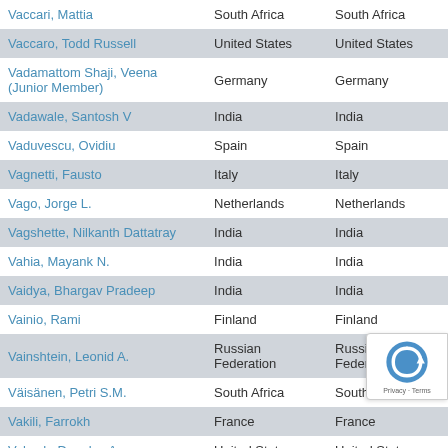| Name | Country | Country |
| --- | --- | --- |
| Vaccari, Mattia | South Africa | South Africa |
| Vaccaro, Todd Russell | United States | United States |
| Vadamattom Shaji, Veena (Junior Member) | Germany | Germany |
| Vadawale, Santosh V | India | India |
| Vaduvescu, Ovidiu | Spain | Spain |
| Vagnetti, Fausto | Italy | Italy |
| Vago, Jorge L. | Netherlands | Netherlands |
| Vagshette, Nilkanth Dattatray | India | India |
| Vahia, Mayank N. | India | India |
| Vaidya, Bhargav Pradeep | India | India |
| Vainio, Rami | Finland | Finland |
| Vainshtein, Leonid A. | Russian Federation | Russian Federation |
| Väisänen, Petri S.M. | South Africa | South Africa |
| Vakili, Farrokh | France | France |
| Vakoch, Douglas A. | United States | United States |